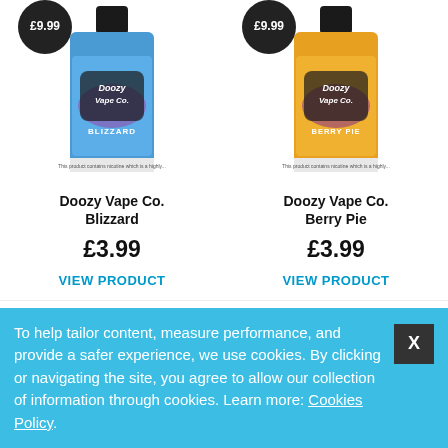[Figure (photo): Doozy Vape Co. Blizzard e-liquid bottle with dark badge showing £9.99 price tag at top left]
[Figure (photo): Doozy Vape Co. Berry Pie e-liquid bottle with dark badge showing £9.99 price tag at top left]
Doozy Vape Co. Blizzard
£3.99
VIEW PRODUCT
Doozy Vape Co. Berry Pie
£3.99
VIEW PRODUCT
[Figure (other): Dark circular badge showing '3 FOR £9.99' promotional label]
[Figure (other): Dark circular badge showing '3 FOR £9.99' promotional label]
To help tailor content, measure performance, and provide a safer experience, we use cookies. By clicking or navigating the site, you agree to allow our collection of information through cookies. Learn more: Cookies Policy.